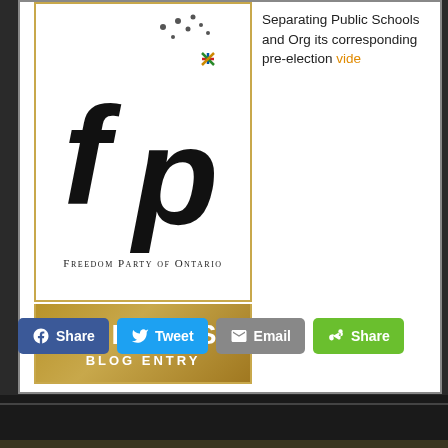[Figure (logo): Freedom Party of Ontario logo with stylized FP letters and small colored cross symbol, gold border, with text FREEDOM PARTY OF ONTARIO and UPDATES BLOG ENTRY banner in gold]
Separating Public Schools and Or... its corresponding pre-election vide...
[Figure (infographic): Social share buttons: Facebook Share, Twitter Tweet, Email, Share (green)]